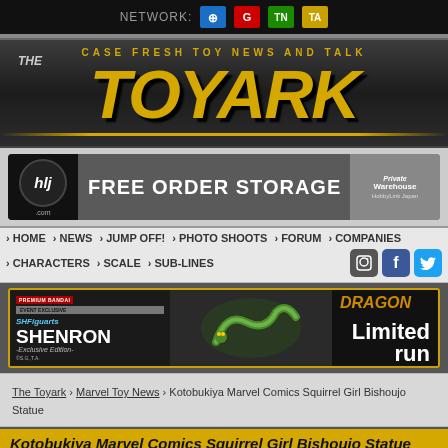NETWORK: [Transformers icon] [G.I. Joe icon] [TN icon] [TA icon]
[Figure (logo): The Toyark logo — Case Fresh Toy News and Talk, large yellow italic TOYARK text on dark background]
[Figure (screenshot): HLJ.com ad banner — FREE ORDER STORAGE, HobbyLink Japan Private Warehouse]
› HOME  › NEWS  › JUMP OFF!  › PHOTO SHOOTS  › FORUM  › COMPANIES  › CHARACTERS  › SCALE  › SUB-LINES
[Figure (screenshot): SH Figuarts SHENRON Exclusive Edition Dragon Ball Z Limited Run ad banner]
The Toyark › Marvel Toy News › Kotobukiya Marvel Comics Squirrel Girl Bishoujo Statue
Kotobukiya Marvel Comics Squirrel Girl Bishoujo Statue